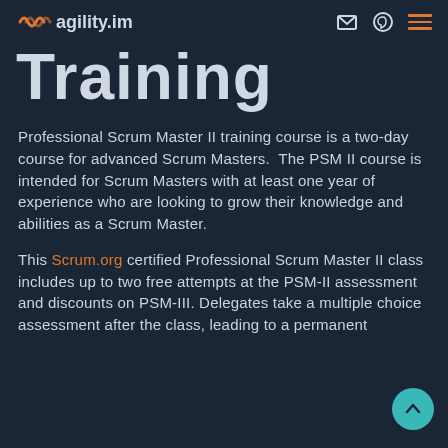agility.im
Training
Professional Scrum Master II training course is a two-day course for advanced Scrum Masters.  The PSM II course is intended for Scrum Masters with at least one year of experience who are looking to grow their knowledge and abilities as a Scrum Master.
This Scrum.org certified Professional Scrum Master II class includes up to two free attempts at the PSM-II assessment and discounts on PSM-III. Delegates take a multiple choice assessment after the class, leading to a permanent certification with no annual fee